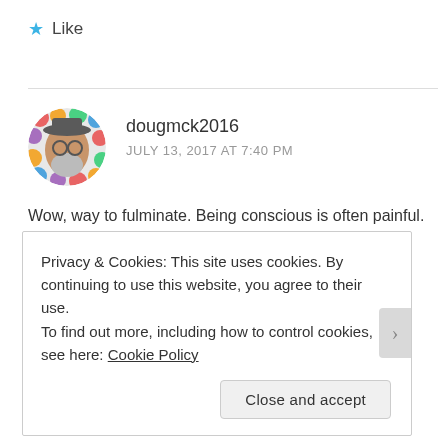★ Like
dougmck2016
JULY 13, 2017 AT 7:40 PM
Wow, way to fulminate. Being conscious is often painful.
Doug >
Privacy & Cookies: This site uses cookies. By continuing to use this website, you agree to their use.
To find out more, including how to control cookies, see here: Cookie Policy
Close and accept